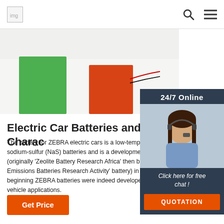Logo | Search | Menu
[Figure (photo): Photo of colorful blocks (green and orange) with wires, against a light background — representing battery or electronics components.]
[Figure (photo): 24/7 Online chat widget featuring a smiling woman with a headset, with a 'Click here for free chat!' message and a QUOTATION button.]
Electric Car Batteries and Charac
The battery for ZEBRA electric cars is a low-tempera of sodium-sulfur (NaS) batteries and is a developme (originally 'Zeolite Battery Research Africa' then beca Emissions Batteries Research Activity' battery) in 19 beginning ZEBRA batteries were indeed developed t vehicle applications.
Get Price